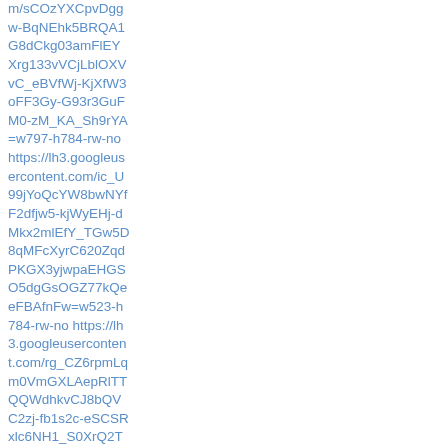m/sCOzYXCpvDgg w-BqNEhk5BRQA1 G8dCkg03amFlEY Xrg133vVCjLblOXV vC_eBVfWj-KjXfW3 oFF3Gy-G93r3GuF M0-zM_KA_Sh9rYA =w797-h784-rw-no https://lh3.googleusercontent.com/ic_U99jYoQcYW8bwNYf F2dfjw5-kjWyEHj-d Mkx2mlEfY_TGw5D 8qMFcXyrC620Zqd PKGX3yjwpaEHGS O5dgGsOGZ77kQe eFBAfnFw=w523-h 784-rw-no https://lh3.googleusercontent.com/rg_CZ6rpmLq m0VmGXLAepRlTT QQWdhkvCJ8bQV C2zj-fb1s2c-eSCSR xlc6NH1_S0XrQ2T pBe17buNq7YwSgc LTcfQgcpAj0j9MdYg =w751-h784-rw-no https://lh3.googleusercontent.com/2vQn